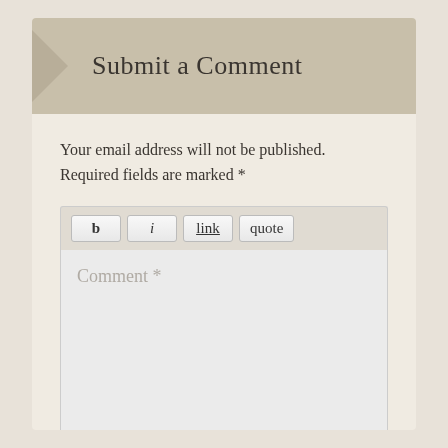Submit a Comment
Your email address will not be published. Required fields are marked *
[Figure (screenshot): Comment form toolbar with bold (b), italic (i), link (underlined), and quote buttons, followed by a large comment textarea with placeholder 'Comment *' and a resize handle, and a Name input field with placeholder 'Name *']